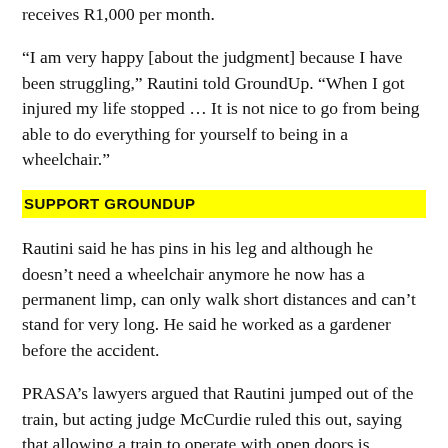receives R1,000 per month.
“I am very happy [about the judgment] because I have been struggling,” Rautini told GroundUp. “When I got injured my life stopped … It is not nice to go from being able to do everything for yourself to being in a wheelchair.”
SUPPORT GROUNDUP
Rautini said he has pins in his leg and although he doesn’t need a wheelchair anymore he now has a permanent limp, can only walk short distances and can’t stand for very long. He said he worked as a gardener before the accident.
PRASA’s lawyers argued that Rautini jumped out of the train, but acting judge McCurdie ruled this out, saying that allowing a train to operate with open doors is “fundamentally unacceptable”.
PRASA also contended that Rautini’s own conduct...